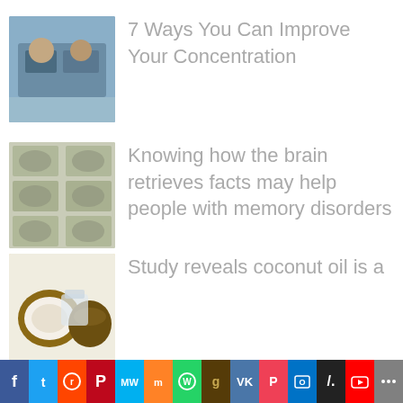[Figure (photo): Thumbnail image for article about improving concentration - appears to show people sitting at a table]
7 Ways You Can Improve Your Concentration
[Figure (photo): Thumbnail image showing brain scans in a grid layout]
Knowing how the brain retrieves facts may help people with memory disorders
[Figure (photo): Thumbnail image showing coconut and coconut oil]
Study reveals coconut oil is a
[Figure (infographic): Social media sharing bar with icons for Facebook, Twitter, Reddit, Pinterest, MeWe, Mix, WhatsApp, Goodreads, VK, Pocket, Outlook, Slashdot, YouTube, and more]